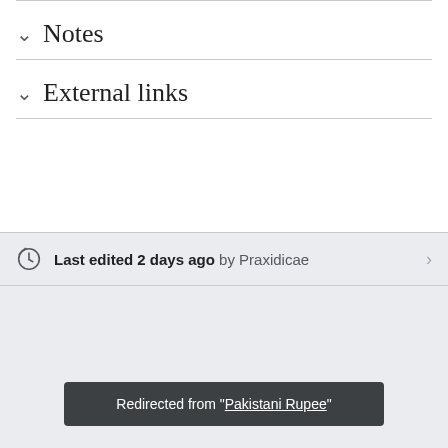Notes
External links
Last edited 2 days ago by Praxidicae
Redirected from "Pakistani Rupee"